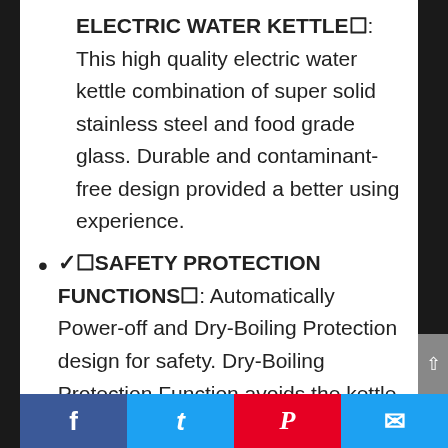ELECTRIC WATER KETTLE■: This high quality electric water kettle combination of super solid stainless steel and food grade glass. Durable and contaminant-free design provided a better using experience.
✔■SAFETY PROTECTION FUNCTIONS■: Automatically Power-off and Dry-Boiling Protection design for safety. Dry-Boiling Protection Function avoids the kettle turning on and there is no water inside. Automatically Power-Off Function ensures the kettle will switch off automatically once the
Facebook | Twitter | Pinterest | Email